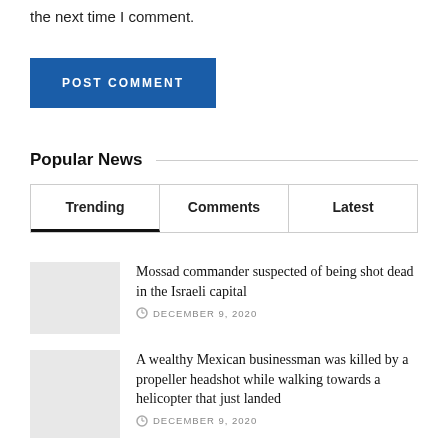the next time I comment.
POST COMMENT
Popular News
Trending	Comments	Latest
Mossad commander suspected of being shot dead in the Israeli capital
DECEMBER 9, 2020
A wealthy Mexican businessman was killed by a propeller headshot while walking towards a helicopter that just landed
DECEMBER 9, 2020
Biden's Asian bodyguard identity exposed: